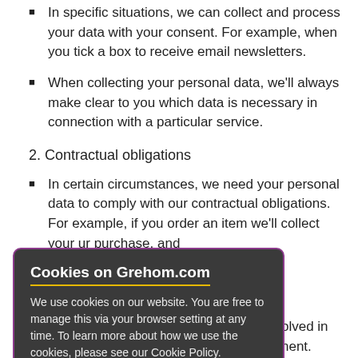In specific situations, we can collect and process your data with your consent. For example, when you tick a box to receive email newsletters.
When collecting your personal data, we'll always make clear to you which data is necessary in connection with a particular service.
2. Contractual obligations
In certain circumstances, we need your personal data to comply with our contractual obligations. For example, if you order an item we'll collect your ur purchase, and
may need to collect example, we can volved in fraud or ng Grehom Ltd to law enforcement.
Cookies on Grehom.com
We use cookies on our website. You are free to manage this via your browser setting at any time. To learn more about how we use the cookies, please see our Cookie Policy.